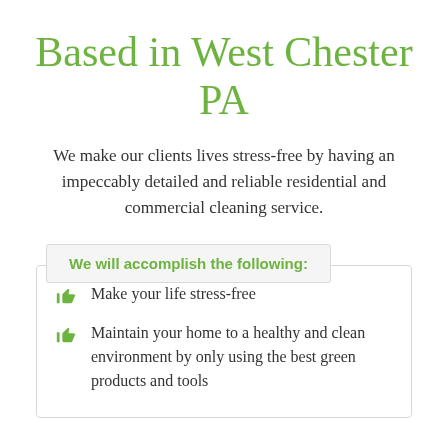Based in West Chester PA
We make our clients lives stress-free by having an impeccably detailed and reliable residential and commercial cleaning service.
We will accomplish the following:
Make your life stress-free
Maintain your home to a healthy and clean environment by only using the best green products and tools